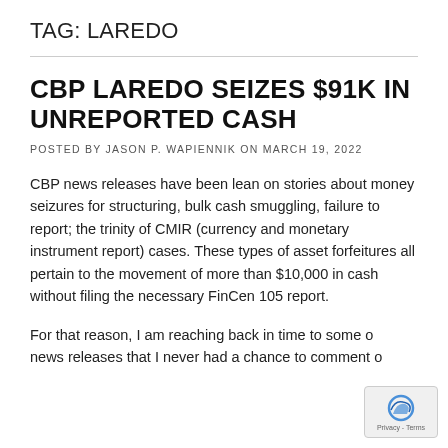TAG: LAREDO
CBP LAREDO SEIZES $91K IN UNREPORTED CASH
POSTED BY JASON P. WAPIENNIK ON MARCH 19, 2022
CBP news releases have been lean on stories about money seizures for structuring, bulk cash smuggling, failure to report; the trinity of CMIR (currency and monetary instrument report) cases. These types of asset forfeitures all pertain to the movement of more than $10,000 in cash without filing the necessary FinCen 105 report.
For that reason, I am reaching back in time to some older news releases that I never had a chance to comment on...